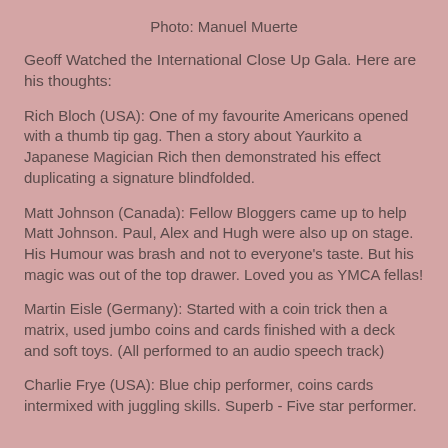Photo: Manuel Muerte
Geoff Watched the International Close Up Gala. Here are his thoughts:
Rich Bloch (USA): One of my favourite Americans opened with a thumb tip gag. Then a story about Yaurkito a Japanese Magician Rich then demonstrated his effect duplicating a signature blindfolded.
Matt Johnson (Canada): Fellow Bloggers came up to help Matt Johnson. Paul, Alex and Hugh were also up on stage. His Humour was brash and not to everyone's taste. But his magic was out of the top drawer. Loved you as YMCA fellas!
Martin Eisle (Germany): Started with a coin trick then a matrix, used jumbo coins and cards finished with a deck and soft toys. (All performed to an audio speech track)
Charlie Frye (USA): Blue chip performer, coins cards intermixed with juggling skills. Superb - Five star performer.